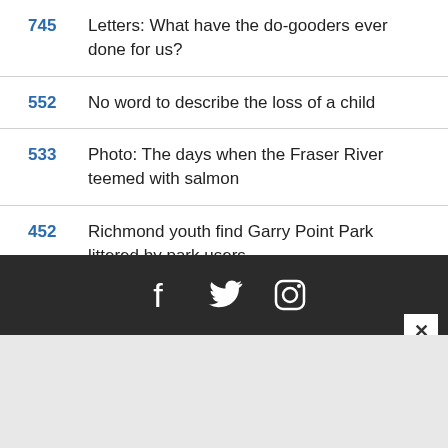745  Letters: What have the do-gooders ever done for us?
552  No word to describe the loss of a child
533  Photo: The days when the Fraser River teemed with salmon
452  Richmond youth find Garry Point Park littered by park users
[Figure (infographic): Dark footer bar with Facebook, Twitter, and Instagram social media icons in white, and a close (x) button on the right side.]